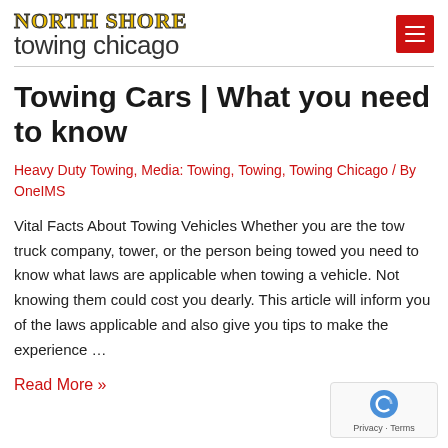NORTH SHORE towing chicago
Towing Cars | What you need to know
Heavy Duty Towing, Media: Towing, Towing, Towing Chicago / By OneIMS
Vital Facts About Towing Vehicles Whether you are the tow truck company, tower, or the person being towed you need to know what laws are applicable when towing a vehicle. Not knowing them could cost you dearly. This article will inform you of the laws applicable and also give you tips to make the experience …
Read More »